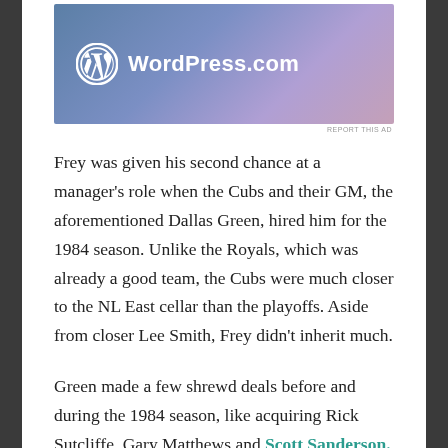[Figure (screenshot): WordPress.com advertisement banner with gradient blue-purple background and white WordPress logo and text]
REPORT THIS AD
Frey was given his second chance at a manager's role when the Cubs and their GM, the aforementioned Dallas Green, hired him for the 1984 season. Unlike the Royals, which was already a good team, the Cubs were much closer to the NL East cellar than the playoffs. Aside from closer Lee Smith, Frey didn't inherit much.
Green made a few shrewd deals before and during the 1984 season, like acquiring Rick Sutcliffe, Gary Matthews and Scott Sanderson. Frey did his part by working with Ryne Sandberg to hit for more power. At the time, Sandberg was